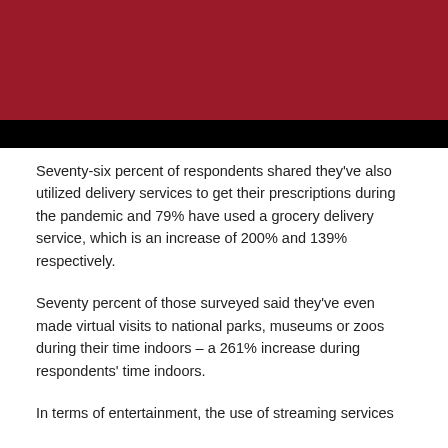[Figure (illustration): Decorative illustration with dark red background and a person at a computer screen; bottom portion is black.]
Seventy-six percent of respondents shared they've also utilized delivery services to get their prescriptions during the pandemic and 79% have used a grocery delivery service, which is an increase of 200% and 139% respectively.
Seventy percent of those surveyed said they've even made virtual visits to national parks, museums or zoos during their time indoors – a 261% increase during respondents' time indoors.
In terms of entertainment, the use of streaming services was 67% and